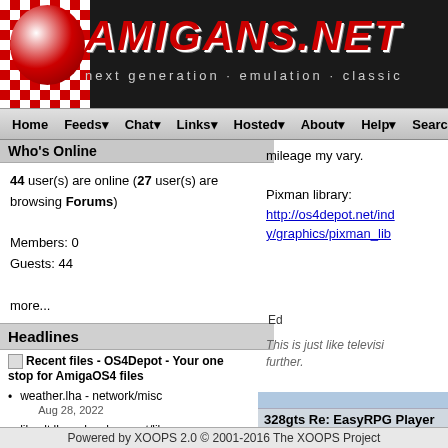[Figure (screenshot): Amigans.net website header banner with red checkered logo and site title in red italic bold text, with tagline 'next generation · emulation · classic']
Home  Feeds  Chat  Links  Hosted  About  Help  Search
Who's Online
44 user(s) are online (27 user(s) are browsing Forums)

Members: 0
Guests: 44

more...
Headlines
Recent files - OS4Depot - Your one stop for AmigaOS4 files
weather.lha - network/misc Aug 28, 2022
libxslt.lha - development/library Aug 27, 2022
aes.lha - utility/misc
mileage my vary.

Pixman library:
http://os4depot.net/ind y/graphics/pixman_lib
Ed
This is just like televisi further.
328gts Re: EasyRPG Player
Home away from home
@BSzili

thanks I love older top down rp
Powered by XOOPS 2.0 © 2001-2016 The XOOPS Project